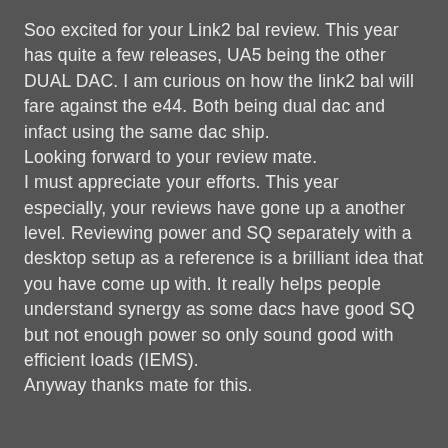Soo excited for your Link2 bal review. This year has quite a few releases, UA5 being the other DUAL DAC. I am curious on how the link2 bal will fare against the e44. Both being dual dac and infact using the same dac ship.
Looking forward to your review mate.
I must appreciate your efforts. This year especially, your reviews have gone up a another level. Reviewing power and SQ separately with a desktop setup as a reference is a brilliant idea that you have come up with. It really helps people understand synergy as some dacs have good SQ but not enough power so only sound good with efficient loads (IEMS).
Anyway thanks mate for this.